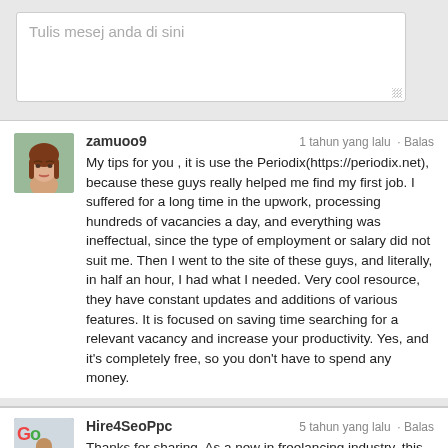[Figure (screenshot): Text area input box with placeholder text 'Tulis mesej anda di sini']
zamuoo9  1 tahun yang lalu · Balas
My tips for you , it is use the Periodix(https://periodix.net), because these guys really helped me find my first job. I suffered for a long time in the upwork, processing hundreds of vacancies a day, and everything was ineffectual, since the type of employment or salary did not suit me. Then I went to the site of these guys, and literally, in half an hour, I had what I needed. Very cool resource, they have constant updates and additions of various features. It is focused on saving time searching for a relevant vacancy and increase your productivity. Yes, and it's completely free, so you don't have to spend any money.
Hire4SeoPpc  5 tahun yang lalu · Balas
Thanks for sharing. As a new in freelancing industry, this